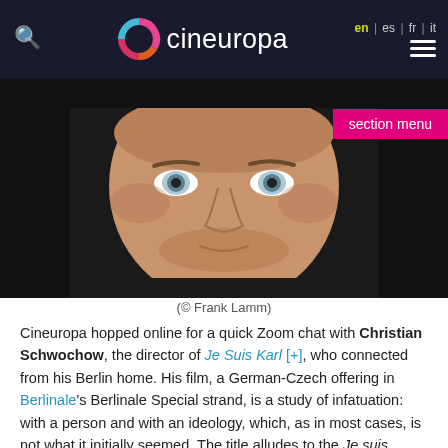cineuropa | en | es | fr | it
[Figure (photo): Close-up headshot of a middle-aged man with blue eyes and stubble, photographed against a dark background.]
(© Frank Lamm)
Cineuropa hopped online for a quick Zoom chat with Christian Schwochow, the director of Je Suis Karl [+], who connected from his Berlin home. His film, a German-Czech offering in Berlinale's Berlinale Special strand, is a study of infatuation: with a person and with an ideology, which, as in most cases, is not what it initially seemed. The title alludes to the Je suis Charlie slogan that was coined after the massacre at the Charlie Hebdo office in 2015. The